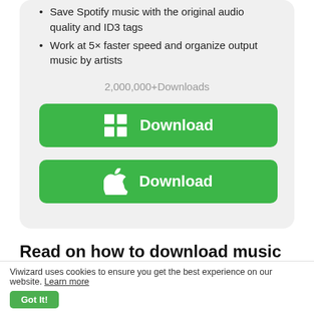Save Spotify music with the original audio quality and ID3 tags
Work at 5× faster speed and organize output music by artists
2,000,000+Downloads
[Figure (screenshot): Green Download button with Windows logo icon]
[Figure (screenshot): Green Download button with Apple logo icon]
Read on how to download music from Spotify to Garmin Vivoactive 3 without premium
1  Import Spotify playlist to ViWizard
Viwizard uses cookies to ensure you get the best experience on our website. Learn more
Got It!